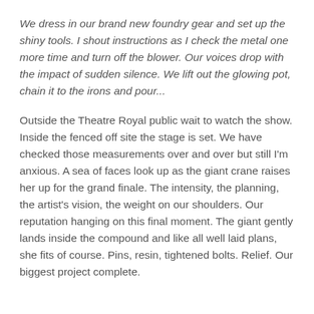We dress in our brand new foundry gear and set up the shiny tools. I shout instructions as I check the metal one more time and turn off the blower. Our voices drop with the impact of sudden silence. We lift out the glowing pot, chain it to the irons and pour...
Outside the Theatre Royal public wait to watch the show. Inside the fenced off site the stage is set. We have checked those measurements over and over but still I'm anxious. A sea of faces look up as the giant crane raises her up for the grand finale. The intensity, the planning, the artist's vision, the weight on our shoulders. Our reputation hanging on this final moment. The giant gently lands inside the compound and like all well laid plans, she fits of course. Pins, resin, tightened bolts. Relief. Our biggest project complete.